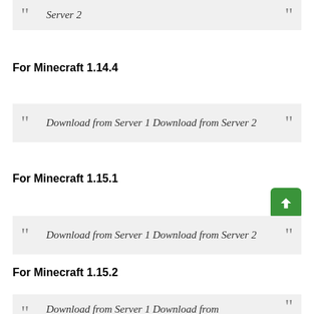Download from Server 1 Download from Server 2
For Minecraft 1.14.4
Download from Server 1 Download from Server 2
For Minecraft 1.15.1
Download from Server 1 Download from Server 2
For Minecraft 1.15.2
Download from Server 1 Download from